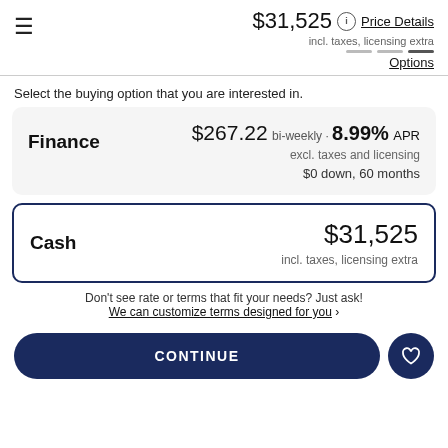$31,525 incl. taxes, licensing extra | Price Details | Options
Select the buying option that you are interested in.
Finance $267.22 bi-weekly · 8.99% APR excl. taxes and licensing $0 down, 60 months
Cash $31,525 incl. taxes, licensing extra
Don't see rate or terms that fit your needs? Just ask! We can customize terms designed for you ›
CONTINUE